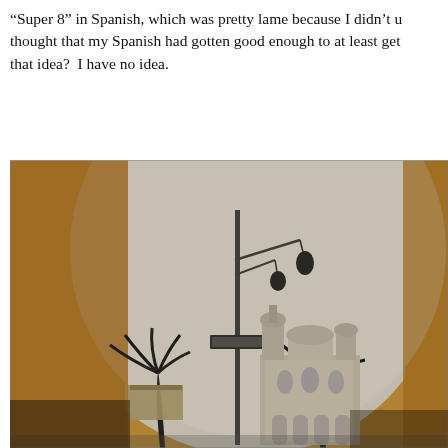“Super 8” in Spanish, which was pretty lame because I didn’t u… thought that my Spanish had gotten good enough to at least get … that idea?  I have no idea.
[Figure (photo): Black and white photograph viewed through a large arched doorway showing a city plaza with a tall street lamp with hanging lights, palm trees, and a cathedral or church building in the background against a large pale circular sky.]